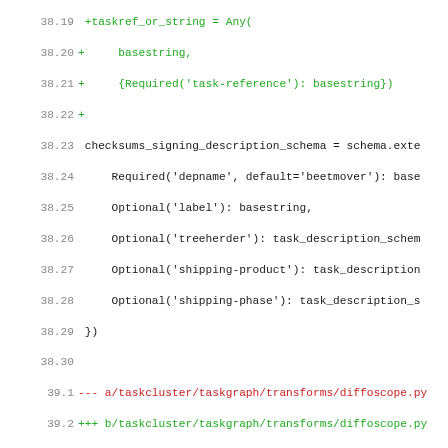[Figure (screenshot): Code diff view showing Python source file changes with line numbers, green additions, red deletions, and magenta diff headers in monospace font.]